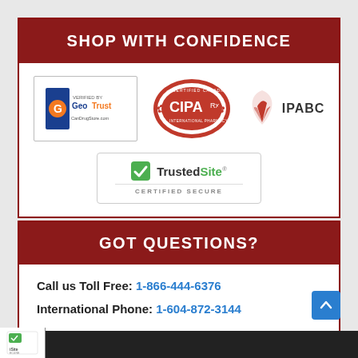SHOP WITH CONFIDENCE
[Figure (logo): GeoTrust Verified logo for CanDrugStore.com, CIPA Certified Canadian International Pharmacy logo, IPABC logo, TrustedSite Certified Secure badge]
GOT QUESTIONS?
Call us Toll Free: 1-866-444-6376
International Phone: 1-604-872-3144